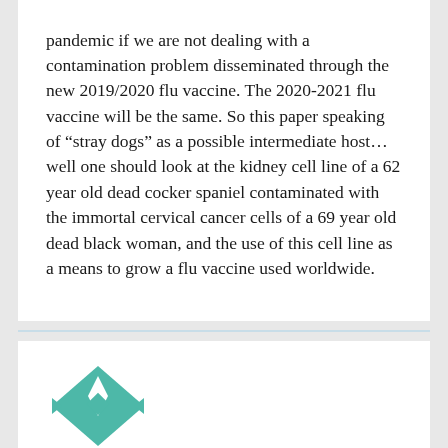pandemic if we are not dealing with a contamination problem disseminated through the new 2019/2020 flu vaccine. The 2020-2021 flu vaccine will be the same. So this paper speaking of “stray dogs” as a possible intermediate host… well one should look at the kidney cell line of a 62 year old dead cocker spaniel contaminated with the immortal cervical cancer cells of a 69 year old dead black woman, and the use of this cell line as a means to grow a flu vaccine used worldwide.
[Figure (illustration): Teal and white geometric quilt pattern avatar icon, partially visible at bottom of page]